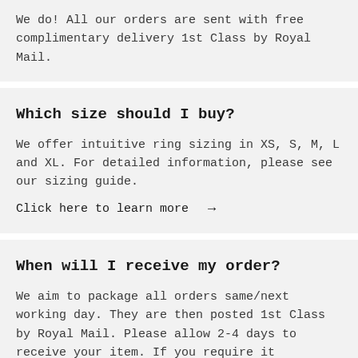We do! All our orders are sent with free complimentary delivery 1st Class by Royal Mail.
Which size should I buy?
We offer intuitive ring sizing in XS, S, M, L and XL. For detailed information, please see our sizing guide.
Click here to learn more →
When will I receive my order?
We aim to package all orders same/next working day. They are then posted 1st Class by Royal Mail. Please allow 2-4 days to receive your item. If you require it